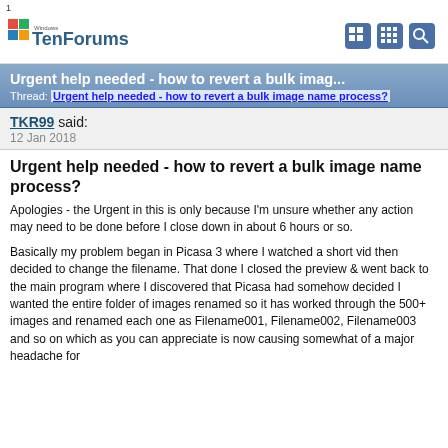1
[Figure (logo): Windows TenForums logo with colorful Windows icon and nav icons]
Urgent help needed - how to revert a bulk imag...
Thread: Urgent help needed - how to revert a bulk image name process?
TKR99 said:
12 Jan 2018
Urgent help needed - how to revert a bulk image name process?
Apologies - the Urgent in this is only because I'm unsure whether any action may need to be done before I close down in about 6 hours or so.
Basically my problem began in Picasa 3 where I watched a short vid then decided to change the filename. That done I closed the preview & went back to the main program where I discovered that Picasa had somehow decided I wanted the entire folder of images renamed so it has worked through the 500+ images and renamed each one as Filename001, Filename002, Filename003 and so on which as you can appreciate is now causing somewhat of a major headache for